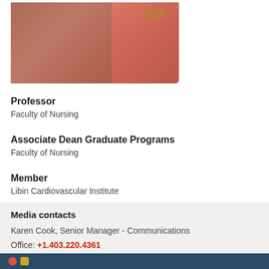[Figure (photo): Partial photo of a person wearing a pink/coral top with a gold watch, shown from mid-torso area]
Professor
Faculty of Nursing
Associate Dean Graduate Programs
Faculty of Nursing
Member
Libin Cardiovascular Institute
Media contacts
Karen Cook, Senior Manager - Communications
Office: +1.403.220.4361